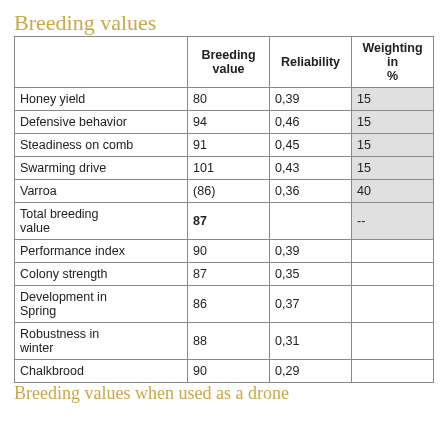Breeding values
|  | Breeding value | Reliability | Weighting in % |
| --- | --- | --- | --- |
| Honey yield | 80 | 0,39 | 15 |
| Defensive behavior | 94 | 0,46 | 15 |
| Steadiness on comb | 91 | 0,45 | 15 |
| Swarming drive | 101 | 0,43 | 15 |
| Varroa | (86) | 0,36 | 40 |
| Total breeding value | 87 |  | -- |
| Performance index | 90 | 0,39 |  |
| Colony strength | 87 | 0,35 |  |
| Development in Spring | 86 | 0,37 |  |
| Robustness in winter | 88 | 0,31 |  |
| Chalkbrood | 90 | 0,29 |  |
Breeding values when used as a drone